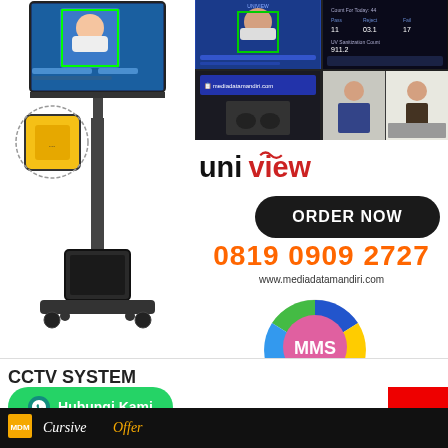[Figure (photo): Uniview temperature screening kiosk on wheeled stand with display monitor and yellow sensor unit]
[Figure (screenshot): Four-panel grid showing face recognition and temperature detection software screenshots]
[Figure (logo): Uniview brand logo with black 'uni' and red 'view' text]
ORDER NOW
0819 0909 2727
www.mediadatamandiri.com
[Figure (logo): MMS Multi Media Solution circular logo with colorful segments and star icons]
CCTV SYSTEM
Hubungi Kami
[Figure (logo): MDM logo in dark footer bar with cursive text]